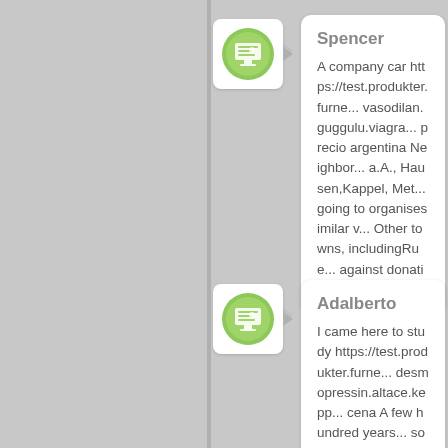Spencer - A company car https://test.produkter.furne... vasodilan.guggulu.viagra... precio argentina Neighbor... a.A., Hausen,Kappel, Met... going to organisesimilar v... Other towns, includingRue... against donating part of th...
Adalberto - I came here to study https://test.produkter.furne... desmopressin.altace.kepp... cena A few hundred years... society swept in from the... as the Bell Beaker Culture... spread of a mtDNA lineag...